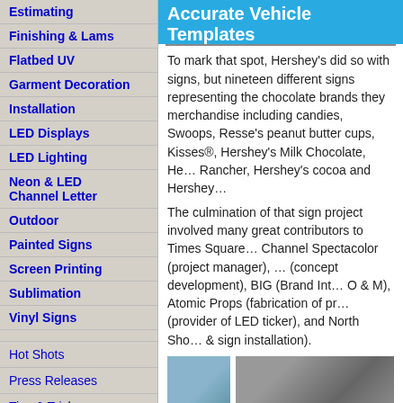Estimating
Finishing & Lams
Flatbed UV
Garment Decoration
Installation
LED Displays
LED Lighting
Neon & LED Channel Letter
Outdoor
Painted Signs
Screen Printing
Sublimation
Vinyl Signs
Hot Shots
Press Releases
Tips & Tricks
Industry Resources
Books
Event Calendar
Associations
Business Center
Accurate Vehicle Templates
To mark that spot, Hershey's did so with signs, but nineteen different signs representing the chocolate brands they merchandise including candies, Swoops, Resse's peanut butter cups, Kisses®, Hershey's Milk Chocolate, He… Rancher, Hershey's cocoa and Hershey…
The culmination of that sign project involved many great contributors to Times Square… Channel Spectacolor (project manager), … (concept development), BIG (Brand Int… O & M), Atomic Props (fabrication of pr… (provider of LED ticker), and North Sho… & sign installation).
[Figure (photo): Two partial photos of building/sign installations — left shows blue-tinted building facade, right shows close-up of building with signage detail]